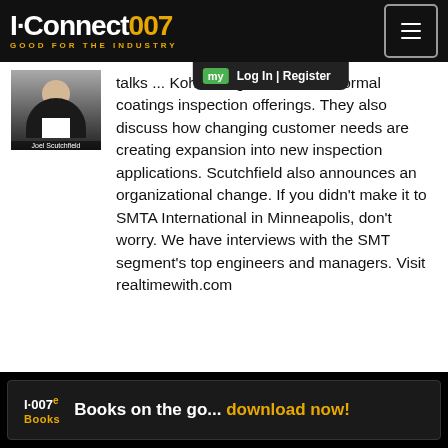I-Connect007 — GOOD FOR THE INDUSTRY
[Figure (photo): Headshot photo of Joel Scutchfield in a dark suit]
talks ...Koh Young's newest conformal coatings inspection offerings. They also discuss how changing customer needs are creating expansion into new inspection applications. Scutchfield also announces an organizational change. If you didn't make it to SMTA International in Minneapolis, don't worry. We have interviews with the SMT segment's top engineers and managers. Visit realtimewith.com
I-007e Books — Books on the go... download now!